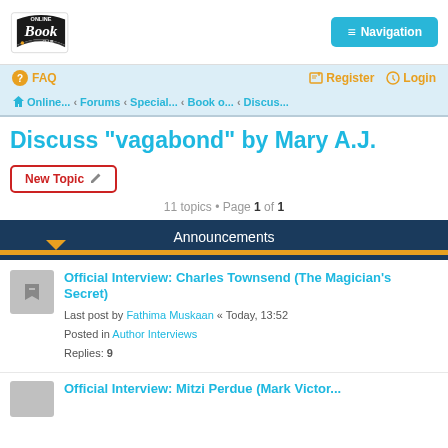[Figure (logo): Online Book Club logo — stylized 'Book' text with open book icon]
≡ Navigation
? FAQ    Register   Login
⌂ Online...  ‹ Forums  ‹ Special...  ‹ Book o...  ‹ Discus...
Discuss "vagabond" by Mary A.J.
New Topic ✎
11 topics • Page 1 of 1
Announcements
Official Interview: Charles Townsend (The Magician's Secret)
Last post by Fathima Muskaan « Today, 13:52
Posted in Author Interviews
Replies: 9
Official Interview: Mitzi Perdue (Mark Victor...